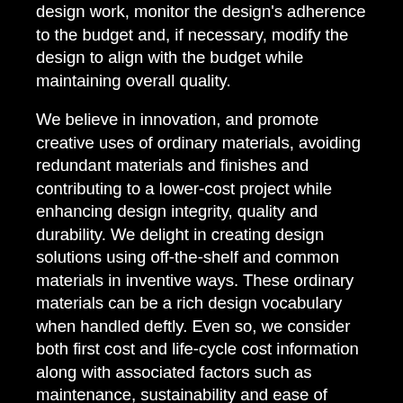design work, monitor the design's adherence to the budget and, if necessary, modify the design to align with the budget while maintaining overall quality.
We believe in innovation, and promote creative uses of ordinary materials, avoiding redundant materials and finishes and contributing to a lower-cost project while enhancing design integrity, quality and durability. We delight in creating design solutions using off-the-shelf and common materials in inventive ways. These ordinary materials can be a rich design vocabulary when handled deftly. Even so, we consider both first cost and life-cycle cost information along with associated factors such as maintenance, sustainability and ease of replacement.
We believe that imagination is a resource – a rare and special one - and creativity is a tangible asset. Like concrete, steel and wood, imagination and creativity are essential ingredients in architecture. When the commonplace is elevated in the light of vision, wonderful things can happen…